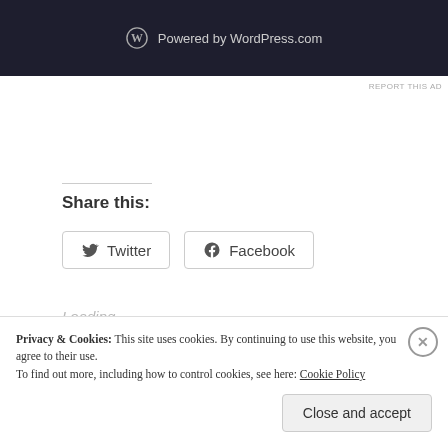[Figure (screenshot): WordPress.com banner with logo and 'Powered by WordPress.com' text on dark background]
REPORT THIS AD
Share this:
Twitter
Facebook
Loading...
Related
Privacy & Cookies: This site uses cookies. By continuing to use this website, you agree to their use. To find out more, including how to control cookies, see here: Cookie Policy
Close and accept